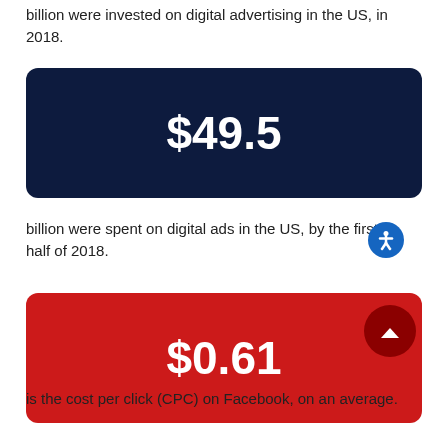billion were invested on digital advertising in the US, in 2018.
[Figure (infographic): Dark navy rounded rectangle stat card displaying the value $49.5]
billion were spent on digital ads in the US, by the first half of 2018.
[Figure (infographic): Red rounded rectangle stat card displaying the value $0.61 with a scroll-to-top button]
is the cost per click (CPC) on Facebook, on an average.